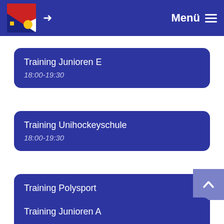Menü
Training Junioren E
18:00-19:30
Training Unihockeyschule
18:00-19:30
Training Polysport
19:30-21:30
Training Junioren A